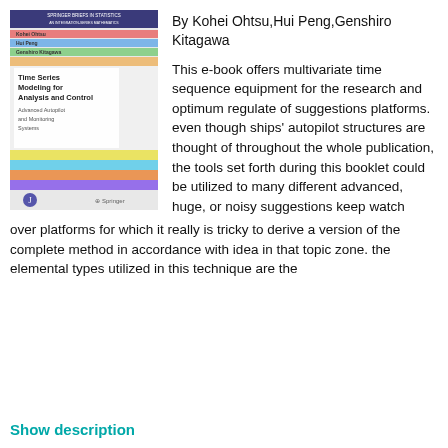[Figure (illustration): Book cover: Time Series Modeling for Analysis and Control, Advanced Autopilot and Monitoring Systems, by Kohei Ohtsu, Hui Peng, Genshiro Kitagawa. Springer Briefs in Statistics. Cover has colorful horizontal bands and Springer logo.]
By Kohei Ohtsu,Hui Peng,Genshiro Kitagawa
This e-book offers multivariate time sequence equipment for the research and optimum regulate of suggestions platforms. even though ships' autopilot structures are thought of throughout the whole publication, the tools set forth during this booklet could be utilized to many different advanced, huge, or noisy suggestions keep watch over platforms for which it really is tricky to derive a version of the complete method in accordance with idea in that topic zone. the elemental types utilized in this technique are the
Show description